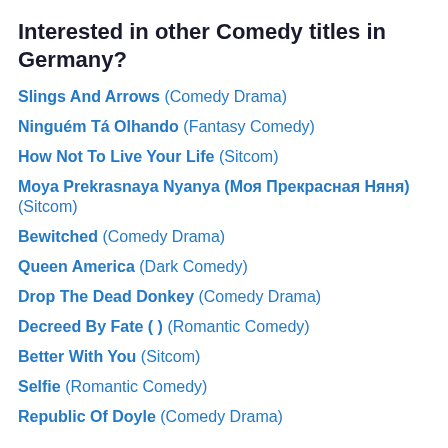Interested in other Comedy titles in Germany?
Slings And Arrows (Comedy Drama)
Ninguém Tá Olhando (Fantasy Comedy)
How Not To Live Your Life (Sitcom)
Moya Prekrasnaya Nyanya (Моя Прекрасная Няня) (Sitcom)
Bewitched (Comedy Drama)
Queen America (Dark Comedy)
Drop The Dead Donkey (Comedy Drama)
Decreed By Fate (  ) (Romantic Comedy)
Better With You (Sitcom)
Selfie (Romantic Comedy)
Republic Of Doyle (Comedy Drama)